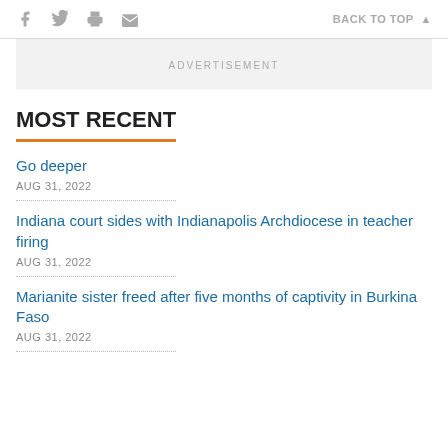f [twitter] [print] [email]   BACK TO TOP ▲
ADVERTISEMENT
MOST RECENT
Go deeper
AUG 31, 2022
Indiana court sides with Indianapolis Archdiocese in teacher firing
AUG 31, 2022
Marianite sister freed after five months of captivity in Burkina Faso
AUG 31, 2022